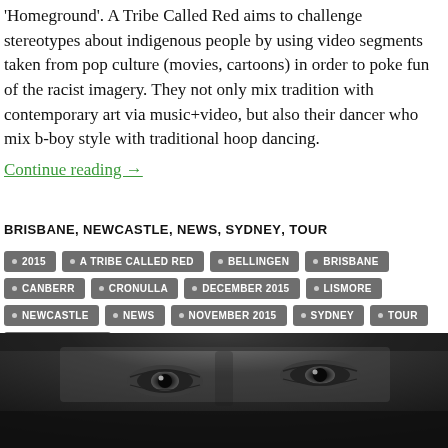'Homeground'. A Tribe Called Red aims to challenge stereotypes about indigenous people by using video segments taken from pop culture (movies, cartoons) in order to poke fun of the racist imagery. They not only mix tradition with contemporary art via music+video, but also their dancer who mix b-boy style with traditional hoop dancing. Continue reading →
BRISBANE, NEWCASTLE, NEWS, SYDNEY, TOUR
2015
A TRIBE CALLED RED
BELLINGEN
BRISBANE
CANBERR
CRONULLA
DECEMBER 2015
LISMORE
NEWCASTLE
NEWS
NOVEMBER 2015
SYDNEY
TOUR
WOLLONGONG
[Figure (photo): Black and white close-up photo of a person's eyes peeking above a surface, dramatic low-key lighting.]